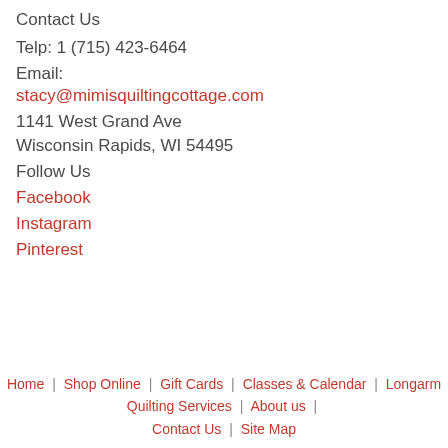Contact Us
Telp: 1 (715) 423-6464
Email:
stacy@mimisquiltingcottage.com
1141 West Grand Ave
Wisconsin Rapids, WI 54495
Follow Us
Facebook
Instagram
Pinterest
Home | Shop Online | Gift Cards | Classes & Calendar | Longarm Quilting Services | About us | Contact Us | Site Map